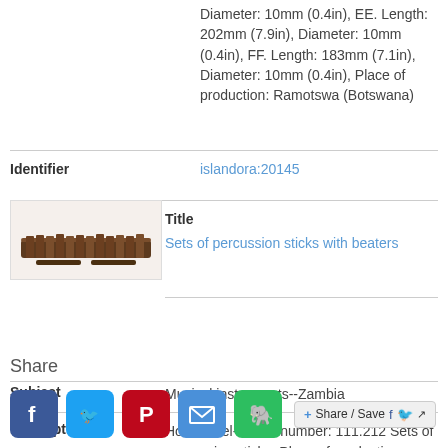Diameter: 10mm (0.4in), EE. Length: 202mm (7.9in), Diameter: 10mm (0.4in), FF. Length: 183mm (7.1in), Diameter: 10mm (0.4in), Place of production: Ramotswa (Botswana)
Identifier: islandora:20145
[Figure (photo): Thumbnail photo of sets of percussion sticks with beaters]
Title: Sets of percussion sticks with beaters
Subject: Musical instruments--Zambia
Description: Hornbostel-Sachs number: 111.212 Sets of percussion sticks, Place of production: Zambia
Identifier: islandora:20891
Share